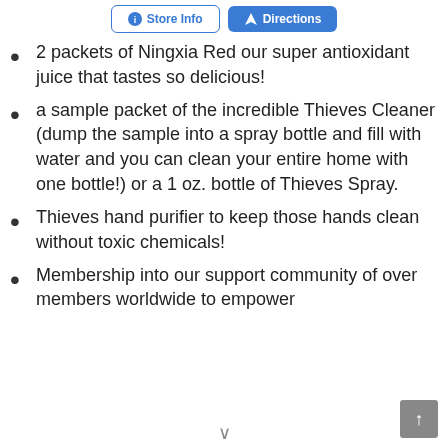[Figure (other): Two buttons: 'Store Info' (outlined blue) and 'Directions' (filled blue) at the top of the page]
2 packets of Ningxia Red our super antioxidant juice that tastes so delicious!
a sample packet of the incredible Thieves Cleaner (dump the sample into a spray bottle and fill with water and you can clean your entire home with one bottle!) or a 1 oz. bottle of Thieves Spray.
Thieves hand purifier to keep those hands clean without toxic chemicals!
Membership into our support community of over members worldwide to empower